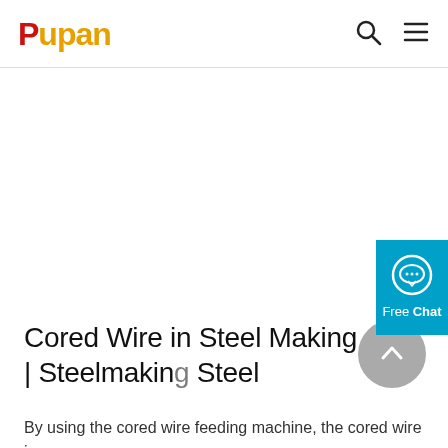Pupan
[Figure (logo): Pupan logo with red 'P' and orange 'upan' text, plus search and menu icons on the right]
[Figure (other): Free Chat widget button in cyan/teal color with chat bubble icon]
[Figure (other): Gray circular back-to-top arrow button]
Cored Wire in Steel Making | Steelmaking Steel
By using the cored wire feeding machine, the cored wire is